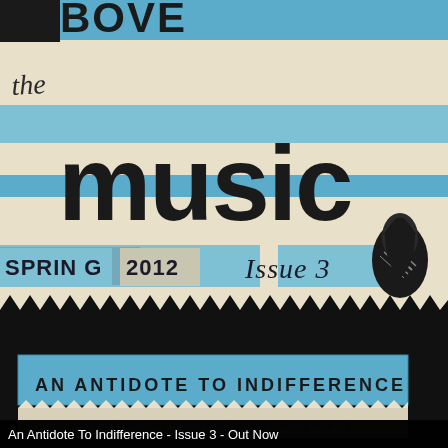[Figure (illustration): Magazine cover for 'the music' zine, Spring 2012, Issue 3. Features bold hand-drawn lettering 'the music' on a cream/beige background with blue horizontal stripe bands. A teardrop/water drop illustration is in the upper right. Text 'SPRING 2012 Issue 3' appears below the main title. A zigzag/wave torn-paper border in black separates the upper illustrated section from a large black lower section. A blue banner reads 'AN ANTIDOTE TO INDIFFERENCE' in hand-lettered caps. At the bottom, a cream strip reads 'A TRIBUTARY OF CAUGHTBYTHERIVER.NET'.]
An Antidote To Indifference - Issue 3 - Out Now